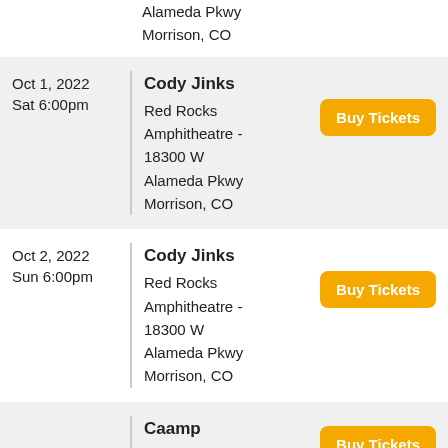Alameda Pkwy
Morrison, CO
Cody Jinks | Oct 1, 2022 Sat 6:00pm | Red Rocks Amphitheatre - 18300 W Alameda Pkwy, Morrison, CO | Buy Tickets
Cody Jinks | Oct 2, 2022 Sun 6:00pm | Red Rocks Amphitheatre - 18300 W Alameda Pkwy, Morrison, CO | Buy Tickets
Caamp | Oct 3, 2022 | Red Rocks Amphitheatre - | Buy Tickets